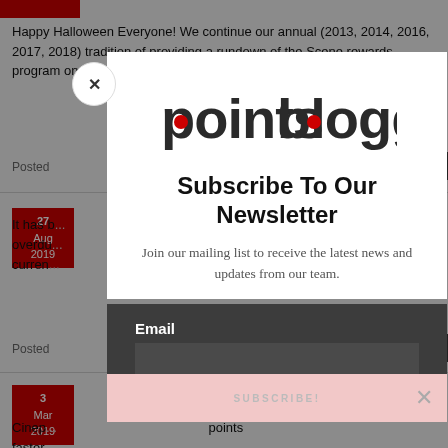Happy Halloween Everyone! We continue our annual (2013, 2014, 2016, 2017, 2018) tradition of providing a rundown of the Scene rewards program on this day, ...
Posted ...
It has ... overdue ... currently ...
Posted ...
Cineplex ... effectively ... points faster ...
[Figure (screenshot): Newsletter subscription modal popup overlay on the pointsblogger website. Contains the pointsblogger logo, 'Subscribe To Our Newsletter' heading, descriptive text, Email field, and SUBSCRIBE! button. Background shows blog post content.]